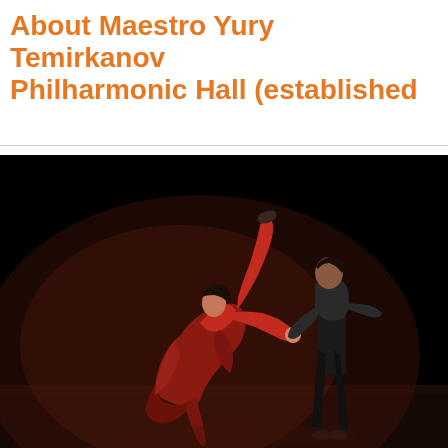About Maestro Yury Temirkanov Philharmonic Hall (established ...
[Figure (photo): Two dancers on a dark stage. A woman in a flowing red dress arches dramatically backward with one leg raised high, her hand clasped by a man in a dark outfit who leans back in counterbalance. Stage lighting illuminates the pair against a black background.]